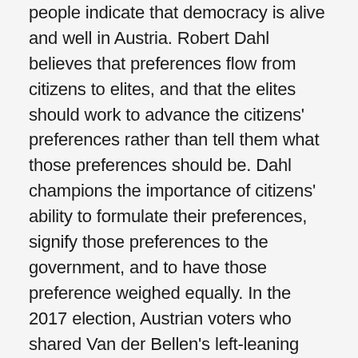people indicate that democracy is alive and well in Austria. Robert Dahl believes that preferences flow from citizens to elites, and that the elites should work to advance the citizens' preferences rather than tell them what those preferences should be. Dahl champions the importance of citizens' ability to formulate their preferences, signify those preferences to the government, and to have those preference weighed equally. In the 2017 election, Austrian voters who shared Van der Bellen's left-leaning views were able to formulate and communicate their preferences. Although the office of the president is mostly ceremonial, Van der Bellen does retain some powers (such as the ability to appoint cabinet members and the option to dissolve the